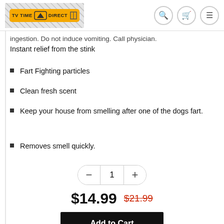TV TIME DIRECT [logo] [search] [cart] [menu]
ingestion. Do not induce vomiting. Call physician.
Instant relief from the stink
Fart Fighting particles
Clean fresh scent
Keep your house from smelling after one of the dogs fart.
Removes smell quickly.
1 (quantity selector)
$14.99  $21.99
Add to Cart